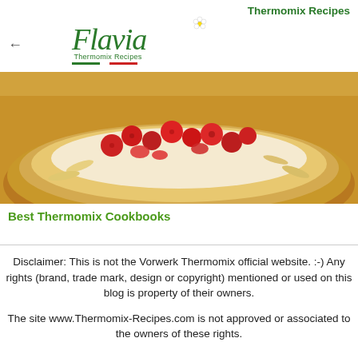Thermomix Recipes
[Figure (logo): Flavia Thermomix Recipes logo with flower icon and Italian flag-colored underline]
[Figure (photo): Close-up photo of a berry and almond tart/pavlova with raspberries and strawberries on top]
Best Thermomix Cookbooks
Disclaimer: This is not the Vorwerk Thermomix official website. :-) Any rights (brand, trade mark, design or copyright) mentioned or used on this blog is property of their owners.
The site www.Thermomix-Recipes.com is not approved or associated to the owners of these rights.